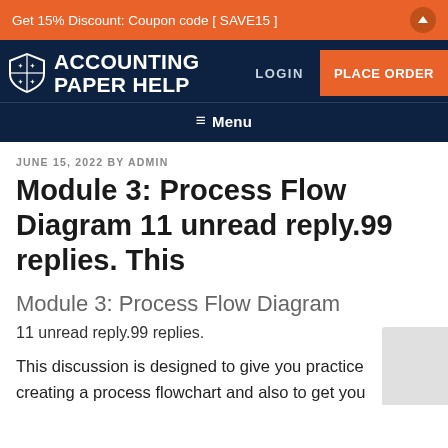Get 15% Discount: Coupon code [ SAVE15 ]
ACCOUNTING PAPER HELP
LOGIN   PLACE ORDER
≡ Menu
JUNE 15, 2022 BY ADMIN
Module 3: Process Flow Diagram 11 unread reply.99 replies. This
Module 3: Process Flow Diagram
11 unread reply.99 replies.
This discussion is designed to give you practice creating a process flowchart and also to get you